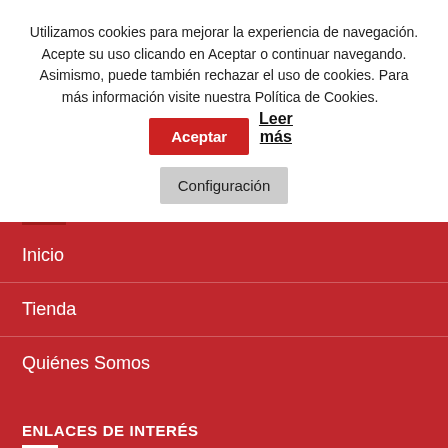Utilizamos cookies para mejorar la experiencia de navegación. Acepte su uso clicando en Aceptar o continuar navegando. Asimismo, puede también rechazar el uso de cookies. Para más información visite nuestra Política de Cookies.
Aceptar | Leer más | Configuración
Inicio
Tienda
Quiénes Somos
ENLACES DE INTERÉS
Mi cuenta
Envíos